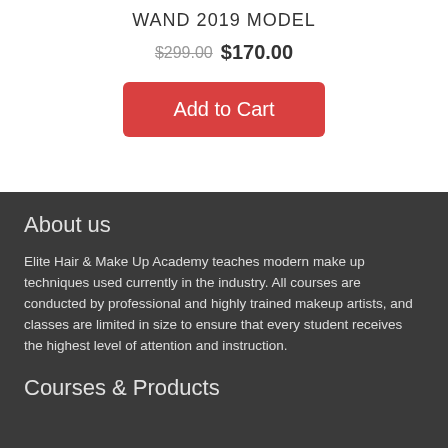WAND 2019 MODEL
$299.00 $170.00
Add to Cart
About us
Elite Hair & Make Up Academy teaches modern make up techniques used currently in the industry. All courses are conducted by professional and highly trained makeup artists, and classes are limited in size to ensure that every student receives the highest level of attention and instruction.
Courses & Products